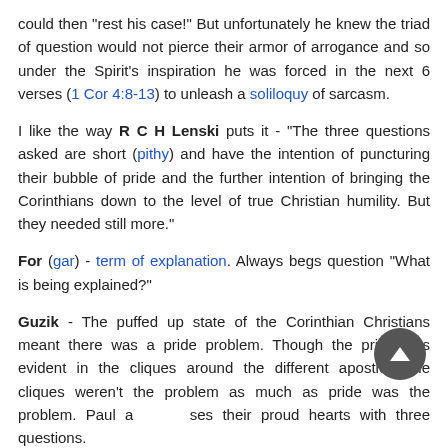could then "rest his case!" But unfortunately he knew the triad of question would not pierce their armor of arrogance and so under the Spirit's inspiration he was forced in the next 6 verses (1 Cor 4:8-13) to unleash a soliloquy of sarcasm.
I like the way R C H Lenski puts it - "The three questions asked are short (pithy) and have the intention of puncturing their bubble of pride and the further intention of bringing the Corinthians down to the level of true Christian humility. But they needed still more."
For (gar) - term of explanation. Always begs question "What is being explained?"
Guzik - The puffed up state of the Corinthian Christians meant there was a pride problem. Though the pride was evident in the cliques around the different apostles, the cliques weren't the problem as much as pride was the problem. Paul addresses their proud hearts with three questions.
Who regards you as superior (diakrino -)? - NIV = "For who